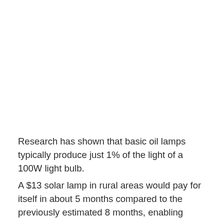Research has shown that basic oil lamps typically produce just 1% of the light of a 100W light bulb.
A $13 solar lamp in rural areas would pay for itself in about 5 months compared to the previously estimated 8 months, enabling